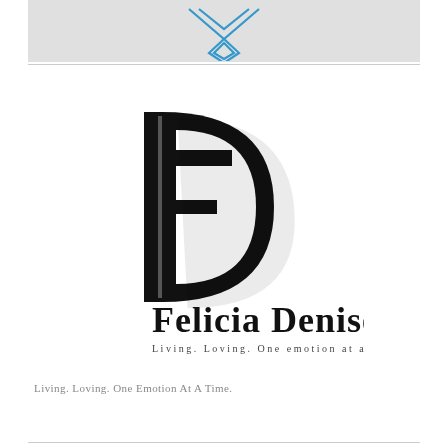[Figure (logo): Geometric diamond/chevron logo mark in blue line art on a light grey background banner]
[Figure (logo): Felicia Denise brand logo: stylized FD monogram in black with serif text 'Felicia Denise' and tagline 'Living. Loving. One emotion at a time.']
Living. Loving. One Emotion At A Time.